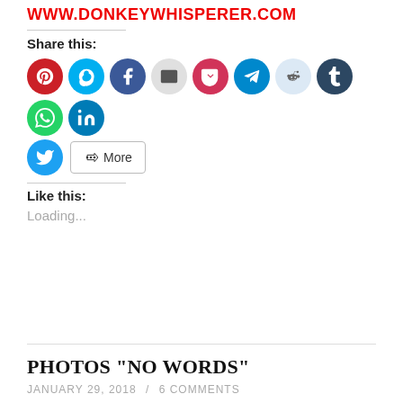WWW.DONKEYWHISPERER.COM
Share this:
[Figure (infographic): Row of social media share icons: Pinterest, Skype, Facebook, Email, Pocket, Telegram, Reddit, Tumblr, WhatsApp, LinkedIn, and Twitter circles, plus a 'More' button]
Like this:
Loading...
PHOTOS “NO WORDS”
JANUARY 29, 2018 / 6 COMMENTS